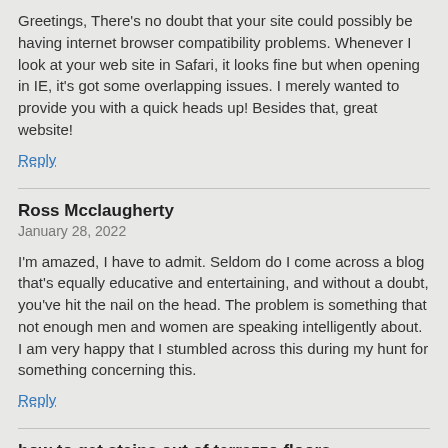Greetings, There's no doubt that your site could possibly be having internet browser compatibility problems. Whenever I look at your web site in Safari, it looks fine but when opening in IE, it's got some overlapping issues. I merely wanted to provide you with a quick heads up! Besides that, great website!
Reply
Ross Mcclaugherty
January 28, 2022
I'm amazed, I have to admit. Seldom do I come across a blog that's equally educative and entertaining, and without a doubt, you've hit the nail on the head. The problem is something that not enough men and women are speaking intelligently about. I am very happy that I stumbled across this during my hunt for something concerning this.
Reply
how to get stains out of terrazzo floors
January 28, 2022